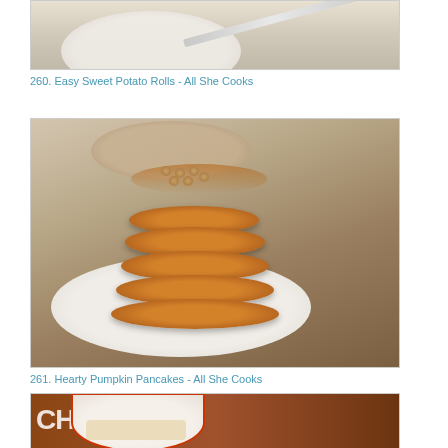[Figure (photo): Partially visible photo of Easy Sweet Potato Rolls on a plate with a knife]
260. Easy Sweet Potato Rolls - All She Cooks
[Figure (photo): Stack of hearty pumpkin pancakes with nuts and syrup on a white plate]
261. Hearty Pumpkin Pancakes - All She Cooks
[Figure (photo): Chobani yogurt cup next to a small bowl, partially visible at bottom of page]